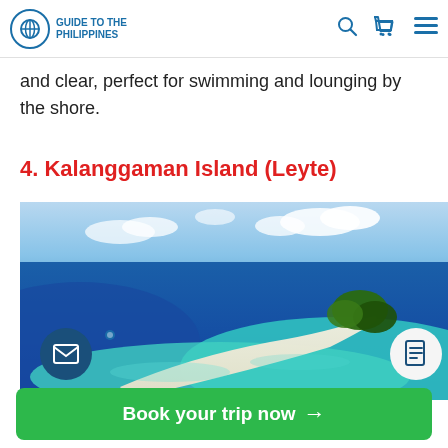GUIDE TO THE PHILIPPINES
and clear, perfect for swimming and lounging by the shore.
4. Kalanggaman Island (Leyte)
[Figure (photo): Aerial photo of Kalanggaman Island in Leyte, Philippines, showing a long white sandbar stretching into blue-green and deep blue ocean waters, with palm trees at one end.]
Book your trip now